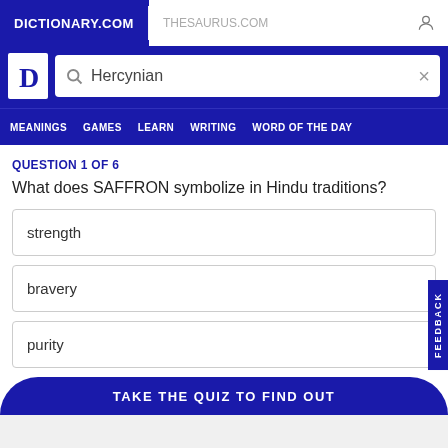DICTIONARY.COM   THESAURUS.COM
[Figure (screenshot): Dictionary.com logo with search box containing 'Hercynian']
MEANINGS   GAMES   LEARN   WRITING   WORD OF THE DAY
QUESTION 1 OF 6
What does SAFFRON symbolize in Hindu traditions?
strength
bravery
purity
TAKE THE QUIZ TO FIND OUT